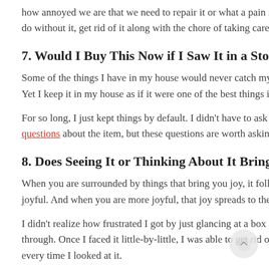how annoyed we are that we need to repair it or what a pain i do without it, get rid of it along with the chore of taking care o
7. Would I Buy This Now if I Saw It in a Stor
Some of the things I have in my house would never catch my Yet I keep it in my house as if it were one of the best things in
For so long, I just kept things by default. I didn't have to ask m questions about the item, but these questions are worth askin
8. Does Seeing It or Thinking About It Bring
When you are surrounded by things that bring you joy, it follo joyful. And when you are more joyful, that joy spreads to the p
I didn't realize how frustrated I got by just glancing at a box o through. Once I faced it little-by-little, I was able to get rid of it every time I looked at it.